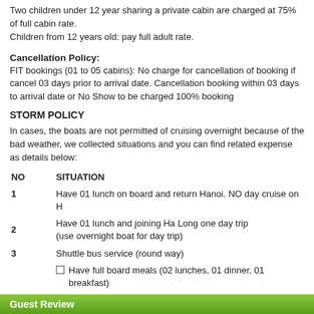Two children under 12 year sharing a private cabin are charged at 75% of full cabin rate.
Children from 12 years old: pay full adult rate.
Cancellation Policy:
FIT bookings (01 to 05 cabins): No charge for cancellation of booking if cancel 03 days prior to arrival date. Cancellation booking within 03 days to arrival date or No Show to be charged 100% booking
STORM POLICY
In cases, the boats are not permitted of cruising overnight because of the bad weather, we collected situations and you can find related expense as details below:
| NO | SITUATION |
| --- | --- |
| 1 | Have 01 lunch on board and return Hanoi. NO day cruise on H |
| 2 | Have 01 lunch and joining Ha Long one day trip
(use overnight boat for day trip) |
| 3 | Shuttle bus service (round way) |
|  | ☐  Have full board meals (02 lunches, 01 dinner, 01 breakfast) |
| 4 | ☐  Enjoy Ha Long day cruise
☐  But Stay at 4* hotel in Ha Long |
Guest Review